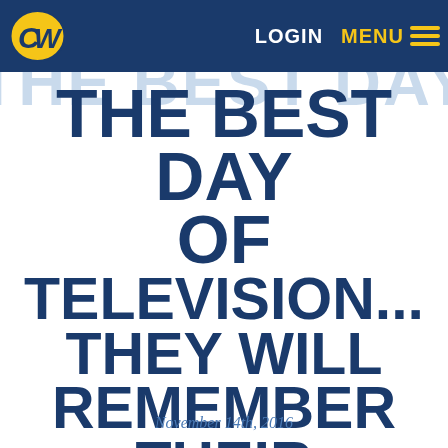CW [logo] | LOGIN | MENU
THE BEST DAY OF TELEVISION... THEY WILL REMEMBER THEIR FAVORITE DAY OF CAMP
November 14th, 2016